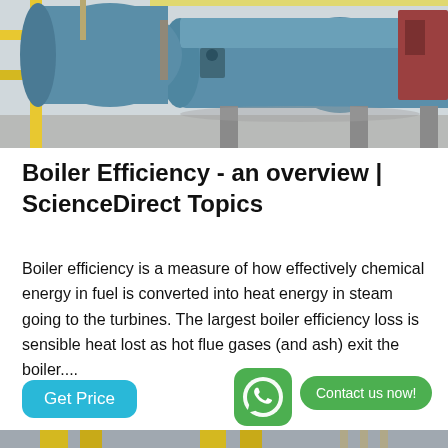[Figure (photo): Industrial boiler equipment in a factory setting — large blue cylindrical boiler on a concrete floor with yellow structural supports and equipment in background.]
Boiler Efficiency - an overview | ScienceDirect Topics
Boiler efficiency is a measure of how effectively chemical energy in fuel is converted into heat energy in steam going to the turbines. The largest boiler efficiency loss is sensible heat lost as hot flue gases (and ash) exit the boiler....
[Figure (photo): Industrial boiler room with yellow pipes, blue boiler unit, and scaffolding structure in the background.]